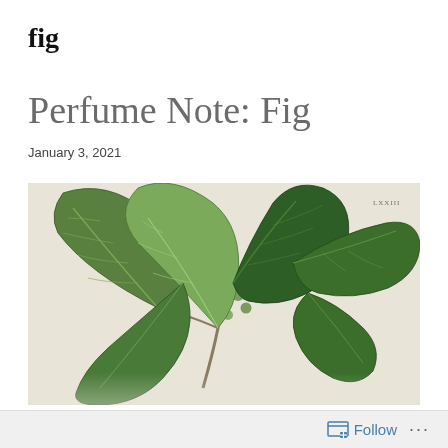fig
Perfume Note: Fig
January 3, 2021
[Figure (illustration): Botanical illustration of a fig tree branch with large lobed dark green leaves and small round green figs, on a cream/beige background. Small text in upper right reads 'LXXIII'.]
Follow ...